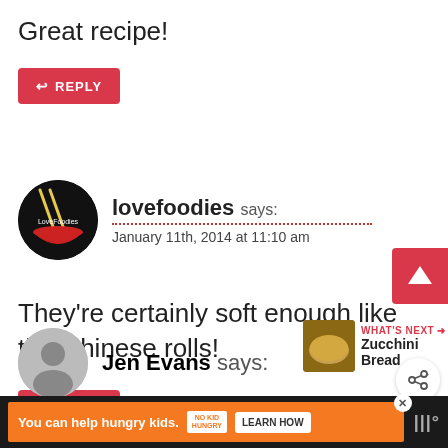Great recipe!
REPLY
lovefoodies says:
January 11th, 2014 at 11:10 am
They're certainly soft enough like the Chinese rolls!
REPLY
WHAT'S NEXT → Zucchini Bread
Jen Evans says:
You can help hungry kids. NO KID HUNGRY LEARN HOW